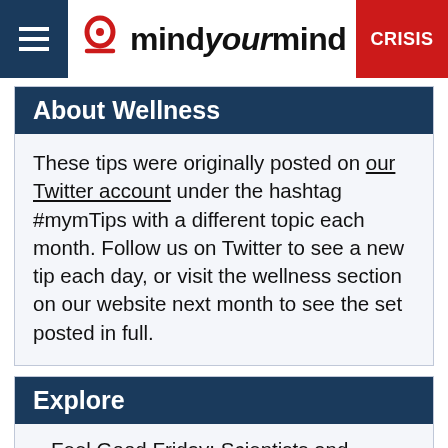mindyourmind CRISIS
About Wellness
These tips were originally posted on our Twitter account under the hashtag #mymTips with a different topic each month. Follow us on Twitter to see a new tip each day, or visit the wellness section on our website next month to see the set posted in full.
Explore
Feel Good Friday: Scientists and Astronomers